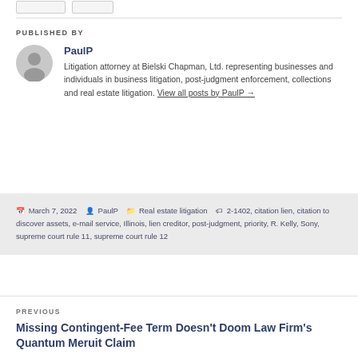PUBLISHED BY
PaulP
Litigation attorney at Bielski Chapman, Ltd. representing businesses and individuals in business litigation, post-judgment enforcement, collections and real estate litigation. View all posts by PaulP →
March 7, 2022  PaulP  Real estate litigation  2-1402, citation lien, citation to discover assets, e-mail service, Illinois, lien creditor, post-judgment, priority, R. Kelly, Sony, supreme court rule 11, supreme court rule 12
PREVIOUS
Missing Contingent-Fee Term Doesn't Doom Law Firm's Quantum Meruit Claim